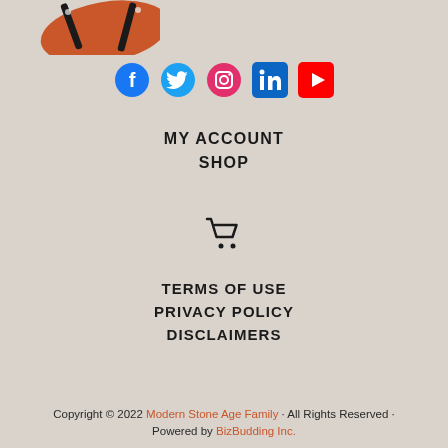[Figure (illustration): Partial view of a logo image at top left — orange and brown graphic element visible at top]
[Figure (infographic): Row of social media icons: Facebook (blue circle), Twitter (blue bird), Instagram (pink circle), LinkedIn (blue square), YouTube (red rectangle)]
MY ACCOUNT
SHOP
[Figure (illustration): Shopping cart icon (black)]
TERMS OF USE
PRIVACY POLICY
DISCLAIMERS
Copyright © 2022 Modern Stone Age Family · All Rights Reserved · Powered by BizBudding Inc.